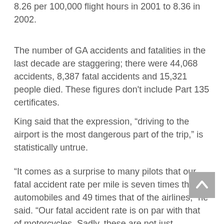8.26 per 100,000 flight hours in 2001 to 8.36 in 2002.
The number of GA accidents and fatalities in the last decade are staggering; there were 44,068 accidents, 8,387 fatal accidents and 15,321 people died. These figures don't include Part 135 certificates.
King said that the expression, “driving to the airport is the most dangerous part of the trip,” is statistically untrue.
“It comes as a surprise to many pilots that our fatal accident rate per mile is seven times that of automobiles and 49 times that of the airlines,” he said. “Our fatal accident rate is on par with that of motorcycles. Sadly, these are not just statistics; these are people
[Figure (other): Back-to-top navigation button with upward chevron arrow on grey background]